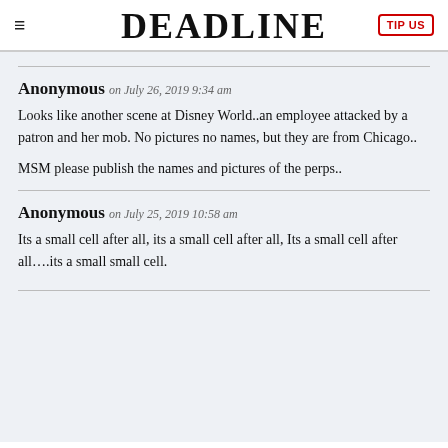DEADLINE | TIP US
Anonymous on July 26, 2019 9:34 am

Looks like another scene at Disney World..an employee attacked by a patron and her mob. No pictures no names, but they are from Chicago..

MSM please publish the names and pictures of the perps..
Anonymous on July 25, 2019 10:58 am

Its a small cell after all, its a small cell after all, Its a small cell after all….its a small small cell.